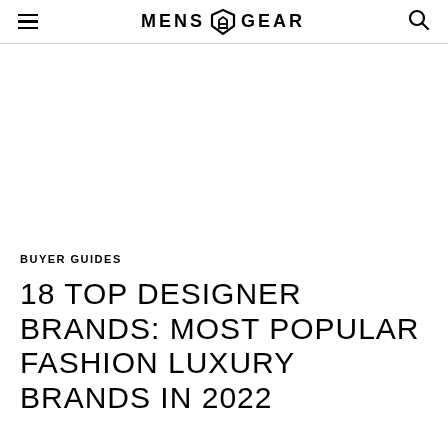MENS GEAR
BUYER GUIDES
18 TOP DESIGNER BRANDS: MOST POPULAR FASHION LUXURY BRANDS IN 2022